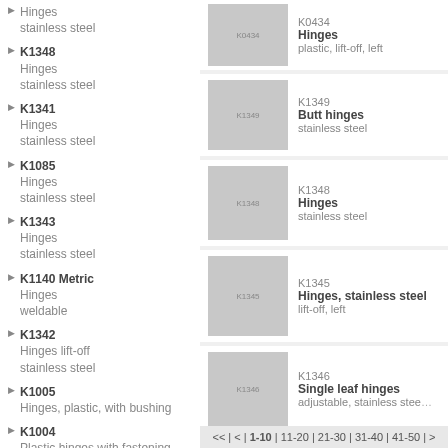Hinges stainless steel
K1348 Hinges stainless steel
K1341 Hinges stainless steel
K1085 Hinges stainless steel
K1343 Hinges stainless steel
K1140 Metric Hinges weldable
K1342 Hinges lift-off stainless steel
K1005 Hinges, plastic, with bushing
K1004 Plastic hinges with fastening holes
K1006 Hinges, plastic, with fastening screws
K1141 Metric Hinges steel maintenance-free
[Figure (photo): K0434 Hinges plastic, lift-off, left - product photo]
K0434 Hinges plastic, lift-off, left
[Figure (photo): K1349 Butt hinges stainless steel - product photo]
K1349 Butt hinges stainless steel
[Figure (photo): K1348 Hinges stainless steel - product photo]
K1348 Hinges stainless steel
[Figure (photo): K1345 Hinges, stainless steel lift-off, left - product photo]
K1345 Hinges, stainless steel lift-off, left
[Figure (photo): K1346 Single leaf hinges adjustable, stainless steel - product photo]
K1346 Single leaf hinges adjustable, stainless steel
<< | < | 1-10 | 11-20 | 21-30 | 31-40 | 41-50 | >